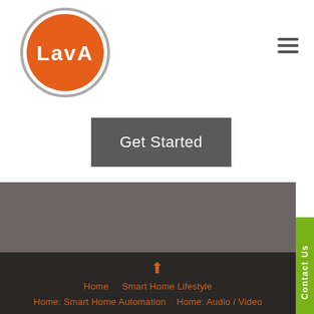[Figure (logo): LAVA logo: circular orange badge with white text 'LAVA' in a stylized font, surrounded by a grey circular border]
[Figure (other): Hamburger menu icon (three horizontal dark grey bars)]
Get Started
[Figure (other): Dark grey banner section]
[Figure (other): Green 'Contact Us' vertical sidebar tab on the right edge]
[Figure (other): Orange upward arrow icon in the dark footer area]
Home   Smart Home Lifestyle   Home: Smart Home Automation   Home: Audio / Video   Home: Security   Commercial: Commercial Automation